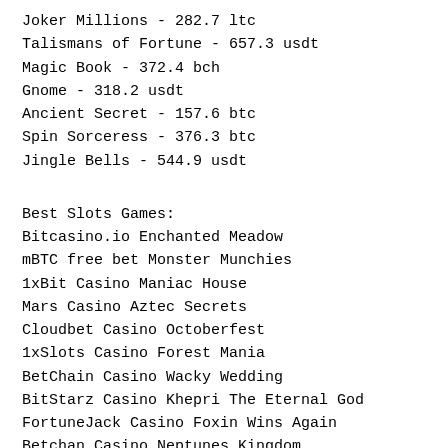Joker Millions - 282.7 ltc
Talismans of Fortune - 657.3 usdt
Magic Book - 372.4 bch
Gnome - 318.2 usdt
Ancient Secret - 157.6 btc
Spin Sorceress - 376.3 btc
Jingle Bells - 544.9 usdt
Best Slots Games:
Bitcasino.io Enchanted Meadow
mBTC free bet Monster Munchies
1xBit Casino Maniac House
Mars Casino Aztec Secrets
Cloudbet Casino Octoberfest
1xSlots Casino Forest Mania
BetChain Casino Wacky Wedding
BitStarz Casino Khepri The Eternal God
FortuneJack Casino Foxin Wins Again
Betchan Casino Neptunes Kingdom
mBit Casino The True Sheriff